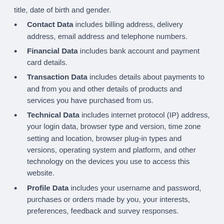title, date of birth and gender.
Contact Data includes billing address, delivery address, email address and telephone numbers.
Financial Data includes bank account and payment card details.
Transaction Data includes details about payments to and from you and other details of products and services you have purchased from us.
Technical Data includes internet protocol (IP) address, your login data, browser type and version, time zone setting and location, browser plug-in types and versions, operating system and platform, and other technology on the devices you use to access this website.
Profile Data includes your username and password, purchases or orders made by you, your interests, preferences, feedback and survey responses.